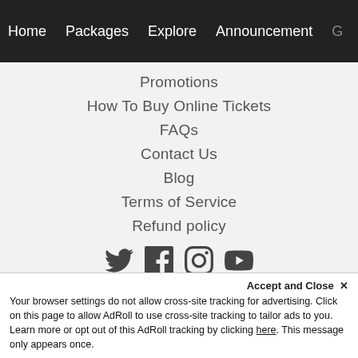Home  Packages  Explore  Announcement  G
Promotions
How To Buy Online Tickets
FAQs
Contact Us
Blog
Terms of Service
Refund policy
[Figure (illustration): Social media icons: Twitter, Facebook, Instagram, YouTube]
© 2022 i-City. Powered by Shopify
Accept and Close ✕
Your browser settings do not allow cross-site tracking for advertising. Click on this page to allow AdRoll to use cross-site tracking to tailor ads to you. Learn more or opt out of this AdRoll tracking by clicking here. This message only appears once.